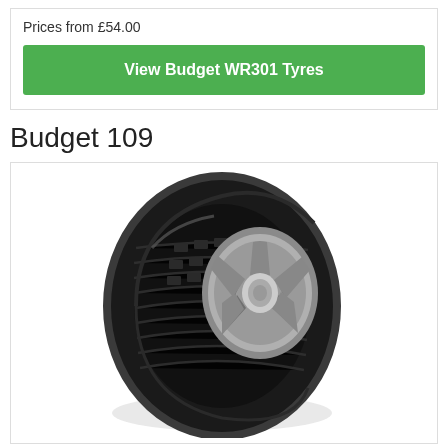Prices from £54.00
View Budget WR301 Tyres
Budget 109
[Figure (photo): Photo of a Budget 109 car tyre mounted on a silver alloy wheel, shown at an angle against a white background inside a bordered card.]